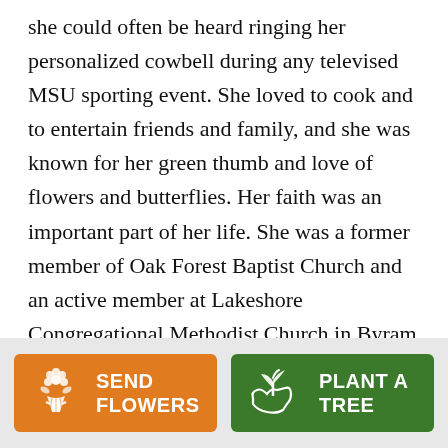she could often be heard ringing her personalized cowbell during any televised MSU sporting event. She loved to cook and to entertain friends and family, and she was known for her green thumb and love of flowers and butterflies. Her faith was an important part of her life. She was a former member of Oak Forest Baptist Church and an active member at Lakeshore Congregational Methodist Church in Byram where she participated in the Volunteer Sunday School class and Wednesday Night Prayer Group. Throughout her life, she was known for her selflessness and her Christlike
[Figure (other): Two call-to-action buttons at the bottom: 'SEND FLOWERS' (orange button with flower bouquet icon) and 'PLANT A TREE' (green button with plant/hand icon)]